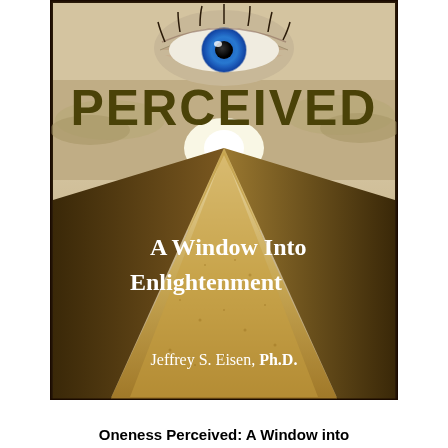[Figure (illustration): Book cover of 'Oneness Perceived: A Window Into Enlightenment' by Jeffrey S. Eisen, Ph.D. The cover shows a blue eye at the top center, a large word 'PERCEIVED' in dark olive/gold bold text, below which is a glowing road or path leading to a bright light on the horizon, with a large sandy/golden pyramid-like shape in the foreground. Text overlay reads 'A Window Into Enlightenment' in white serif font, and 'Jeffrey S. Eisen, Ph.D.' in white text at the bottom.]
Oneness Perceived: A Window into